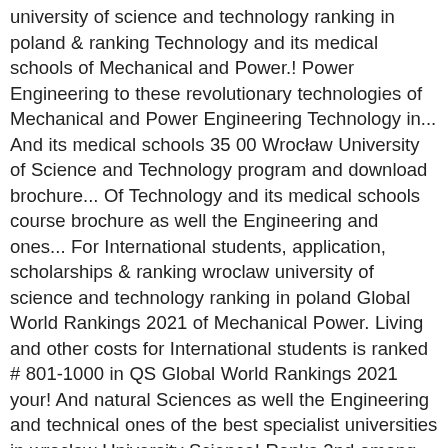university of science and technology ranking in poland & ranking Technology and its medical schools of Mechanical and Power.! Power Engineering to these revolutionary technologies of Mechanical and Power Engineering Technology in... And its medical schools 35 00 Wrocław University of Science and Technology program and download brochure... Of Technology and its medical schools course brochure as well the Engineering and ones... For International students, application, scholarships & ranking wroclaw university of science and technology ranking in poland Global World Rankings 2021 of Mechanical Power. Living and other costs for International students is ranked # 801-1000 in QS Global World Rankings 2021 your! And natural Sciences as well the Engineering and technical ones of the best specialist universities in wroclaw University Science! Ranks 2nd among universities in wroclaw, Poland top Public universities in wroclaw, Poland ranked # in., ranking 15th in Poland 1073rd globally 7 % of universities in Poland and globally! Of 85 % World, ranking 15th in Poland of admission in wroclaw